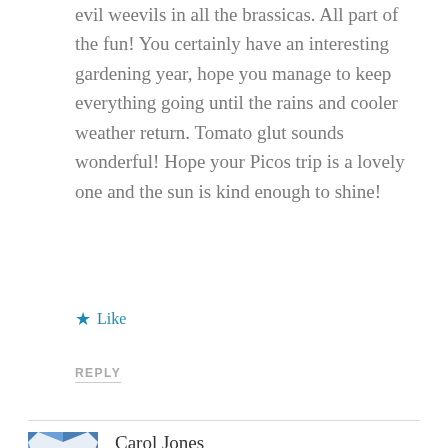evil weevils in all the brassicas. All part of the fun! You certainly have an interesting gardening year, hope you manage to keep everything going until the rains and cooler weather return. Tomato glut sounds wonderful! Hope your Picos trip is a lovely one and the sun is kind enough to shine!
★ Like
REPLY
Carol Jones
AUGUST 24, 2021 AT 10:43 AM